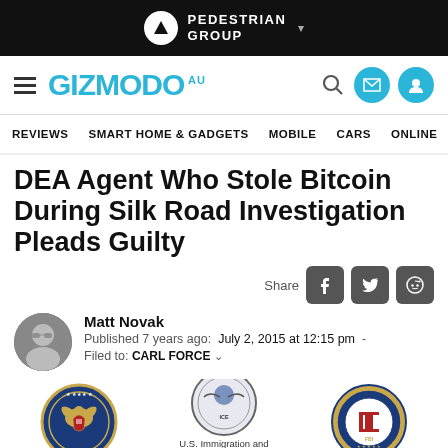PEDESTRIAN GROUP
GIZMODO AU — REVIEWS SMART HOME & GADGETS MOBILE CARS ONLINE
DEA Agent Who Stole Bitcoin During Silk Road Investigation Pleads Guilty
Share
Matt Novak
Published 7 years ago: July 2, 2015 at 12:15 pm
Filed to: CARL FORCE
[Figure (logo): Three government agency seals: Department of Justice, U.S. Immigration and Customs Enforcement, and FBI]